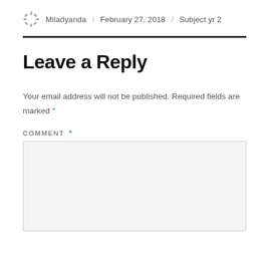Miladyanda / February 27, 2018 / Subject yr 2
Leave a Reply
Your email address will not be published. Required fields are marked *
COMMENT *
[Figure (other): Empty comment text area input box]